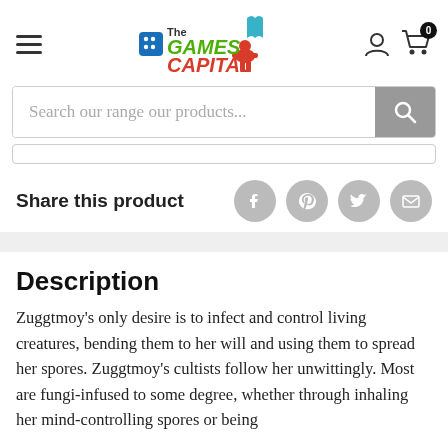The Games Capital - navigation header with logo, hamburger menu, user icon, and cart icon with 0 items
Search our range our products...
Share this product
Description
Zuggtmoy's only desire is to infect and control living creatures, bending them to her will and using them to spread her spores. Zuggtmoy's cultists follow her unwittingly. Most are fungi-infused to some degree, whether through inhaling her mind-controlling spores or being